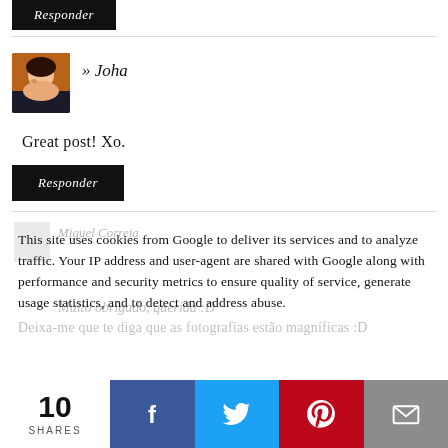Responder
[Figure (photo): Small avatar photo of a young woman]
» Joha
Great post! Xo.
Responder
This site uses cookies from Google to deliver its services and to analyze traffic. Your IP address and user-agent are shared with Google along with performance and security metrics to ensure quality of service, generate usage statistics, and to detect and address abuse.
Deixa-me que te diga que as fotografias estão magníficas :D
10 SHARES